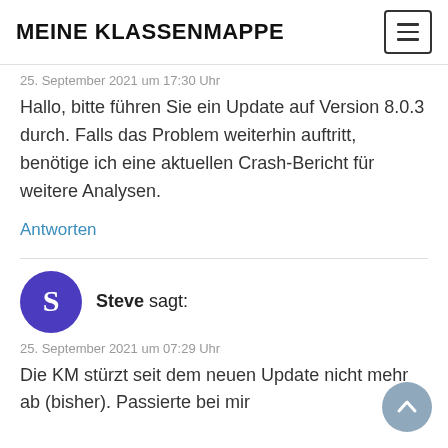MEINE KLASSENMAPPE
25. September 2021 um 17:30 Uhr
Hallo, bitte führen Sie ein Update auf Version 8.0.3 durch. Falls das Problem weiterhin auftritt, benötige ich eine aktuellen Crash-Bericht für weitere Analysen.
Antworten
Steve sagt:
25. September 2021 um 07:29 Uhr
Die KM stürzt seit dem neuen Update nicht mehr ab (bisher). Passierte bei mir